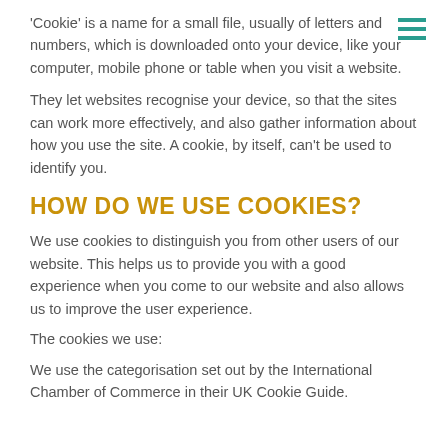'Cookie' is a name for a small file, usually of letters and numbers, which is downloaded onto your device, like your computer, mobile phone or table when you visit a website.
They let websites recognise your device, so that the sites can work more effectively, and also gather information about how you use the site. A cookie, by itself, can't be used to identify you.
HOW DO WE USE COOKIES?
We use cookies to distinguish you from other users of our website. This helps us to provide you with a good experience when you come to our website and also allows us to improve the user experience.
The cookies we use:
We use the categorisation set out by the International Chamber of Commerce in their UK Cookie Guide.